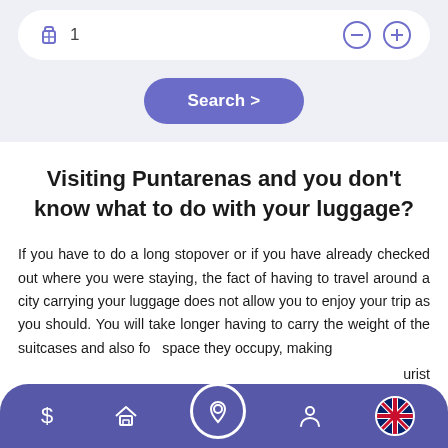[Figure (screenshot): Luggage count selector row with briefcase icon showing '1' and minus/plus circle buttons on white rounded card, on light grey background]
[Figure (screenshot): Purple rounded 'Search >' button]
Visiting Puntarenas and you don't know what to do with your luggage?
If you have to do a long stopover or if you have already checked out where you were staying, the fact of having to travel around a city carrying your luggage does not allow you to enjoy your trip as you should. You will take longer having to carry the weight of the suitcases and also fo  space they occupy, making  urist
[Figure (screenshot): Bottom navigation bar with dollar sign, home, location pin (center, highlighted), person, and UK flag icons on purple rounded bar]